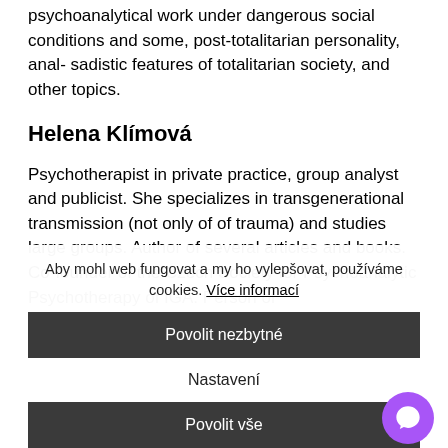psychoanalytical work under dangerous social conditions and some, post-totalitarian personality, anal- sadistic features of totalitarian society, and other topics.
Helena Klímová
Psychotherapist in private practice, group analyst and publicist. She specializes in transgenerational transmission (not only of of trauma) and studies large groups. Author of several articles and books. Co-founder of the Czech Society for Psychoanalytic Psychotherapy of IGA. Person of
Aby mohl web fungovat a my ho vylepšovat, používáme cookies. Více informací
Povolit nezbytné
Nastavení
Povolit vše